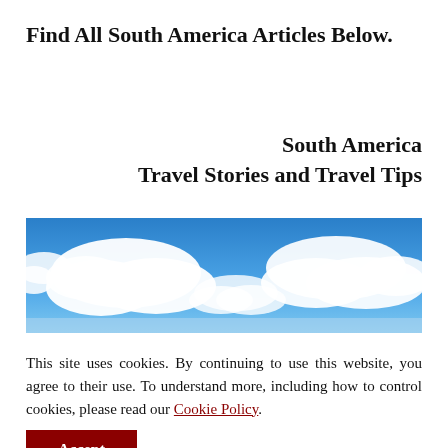Find All South America Articles Below.
South America
Travel Stories and Travel Tips
[Figure (photo): Wide banner photo of a bright blue sky with white fluffy clouds]
This site uses cookies. By continuing to use this website, you agree to their use. To understand more, including how to control cookies, please read our Cookie Policy.
Accept